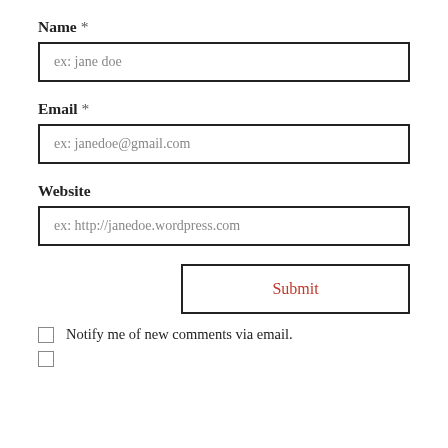Name *
ex: jane doe
Email *
ex: janedoe@gmail.com
Website
ex: http://janedoe.wordpress.com
Submit
Notify me of new comments via email.